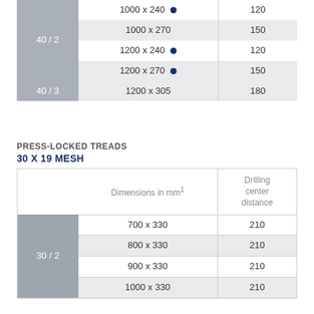| BB | Dimensions in mm¹ | Drilling center distance |
| --- | --- | --- |
| 40 / 2 | 1000 x 240 ● | 120 |
| 40 / 2 | 1000 x 270 | 150 |
| 40 / 2 | 1200 x 240 ● | 120 |
| 40 / 2 | 1200 x 270 ● | 150 |
| 40 / 3 | 1200 x 305 | 180 |
PRESS-LOCKED TREADS
30 X 19 MESH
| BB | Dimensions in mm¹ | Drilling center distance |
| --- | --- | --- |
| 30 / 2 | 700 x 330 | 210 |
| 30 / 2 | 800 x 330 | 210 |
| 30 / 2 | 900 x 330 | 210 |
| 30 / 2 | 1000 x 330 | 210 |